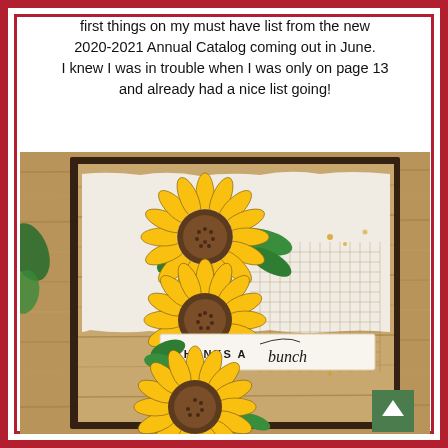first things on my must have list from the new 2020-2021 Annual Catalog coming out in June. I knew I was in trouble when I was only on page 13 and already had a nice list going!
[Figure (photo): A handmade greeting card featuring three large sunflowers with green leaves on a rustic wood-grain background with a torn white paper layer and a grid-patterned element. A banner reads 'THANKS A bunch' in mixed fonts. The card is mounted on a dark brown cardstock base. A green 'back to top' arrow button is visible in the lower right corner.]